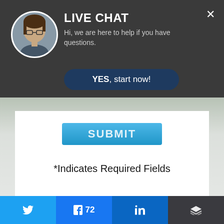[Figure (screenshot): Live chat overlay bar with woman's avatar photo, LIVE CHAT heading, subtitle text, YES start now button, and close X button]
LIVE CHAT
Hi, we are here to help if you have questions.
YES, start now!
[Figure (screenshot): Blue SUBMIT button partially visible beneath the chat overlay]
*Indicates Required Fields
[Figure (logo): Round logo with horizontal lines and a bird/duck silhouette in the center]
[Figure (screenshot): Social share bar with Twitter, Facebook (72 shares), LinkedIn, and more buttons at the bottom]